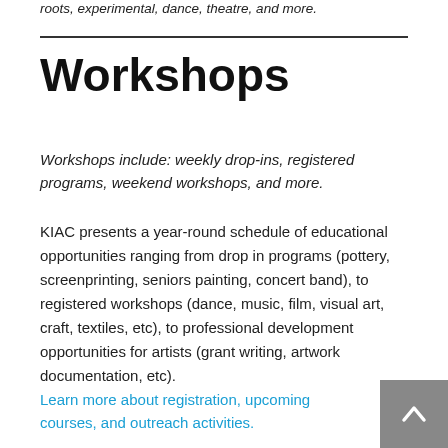roots, experimental, dance, theatre, and more.
Workshops
Workshops include: weekly drop-ins, registered programs, weekend workshops, and more.
KIAC presents a year-round schedule of educational opportunities ranging from drop in programs (pottery, screenprinting, seniors painting, concert band), to registered workshops (dance, music, film, visual art, craft, textiles, etc), to professional development opportunities for artists (grant writing, artwork documentation, etc).
Learn more about registration, upcoming courses, and outreach activities.